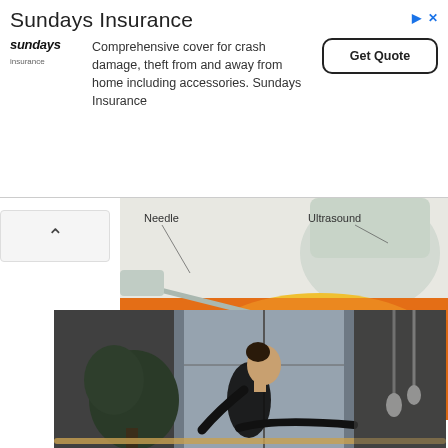[Figure (other): Sundays Insurance advertisement banner with logo, description text, and Get Quote button]
[Figure (illustration): Medical illustration showing large core needle biopsy of the breast with labeled needle and ultrasound probe]
LARGE CORE NEEDLE BIOPSY OF THE BREAST
[Figure (photo): Photo of a woman in a black outfit performing a Pilates or ballet exercise at a barre in a studio with large windows and plants in the background]